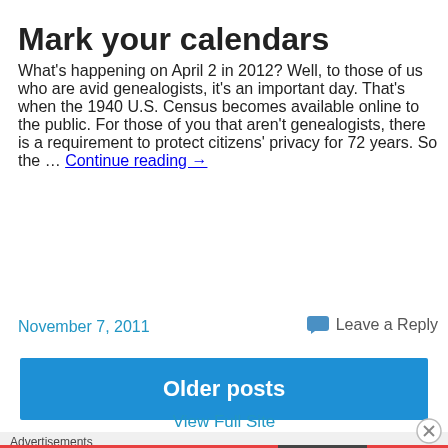Mark your calendars
What's happening on April 2 in 2012? Well, to those of us who are avid genealogists, it's an important day. That's when the 1940 U.S. Census becomes available online to the public. For those of you that aren't genealogists, there is a requirement to protect citizens' privacy for 72 years. So the … Continue reading →
November 7, 2011
Leave a Reply
Older posts
View Full Site
Advertisements